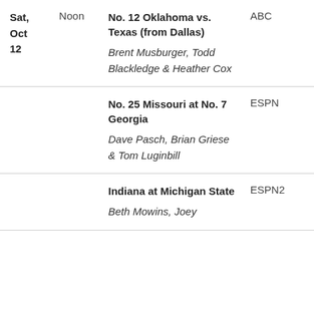| Date | Time | Game | Network |
| --- | --- | --- | --- |
| Sat, Oct 12 | Noon | No. 12 Oklahoma vs. Texas (from Dallas)
Brent Musburger, Todd Blackledge & Heather Cox | ABC |
|  |  | No. 25 Missouri at No. 7 Georgia
Dave Pasch, Brian Griese & Tom Luginbill | ESPN |
|  |  | Indiana at Michigan State
Beth Mowins, Joey… | ESPN2 |